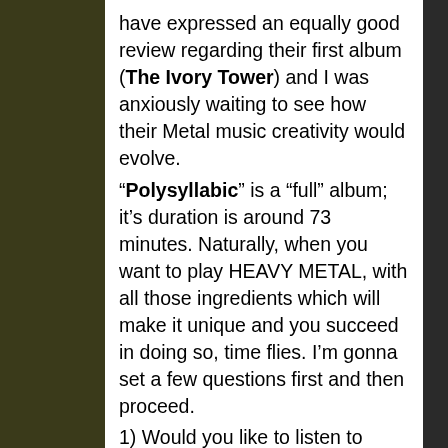have expressed an equally good review regarding their first album (The Ivory Tower) and I was anxiously waiting to see how their Metal music creativity would evolve.
"Polysyllabic" is a "full" album; it's duration is around 73 minutes. Naturally, when you want to play HEAVY METAL, with all those ingredients which will make it unique and you succeed in doing so, time flies. I'm gonna set a few questions first and then proceed.
1) Would you like to listen to some dynamic METAL RIFFS?
2) Would you like to listen to some magnificent twin guitars?
3) Would you like to listen to some